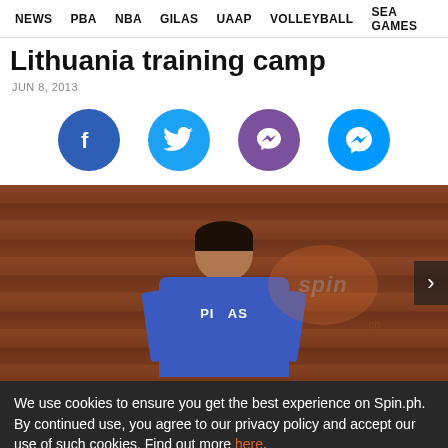NEWS   PBA   NBA   GILAS   UAAP   VOLLEYBALL   SEA GAMES
Lithuania training camp
JUN 8, 2013
[Figure (infographic): Social share icons row: Facebook (blue circle), Twitter (cyan circle), Viber (purple circle), Messenger (blue circle)]
[Figure (photo): Man in blue Pilipinas jersey seated, spin.ph watermark visible]
We use cookies to ensure you get the best experience on Spin.ph. By continued use, you agree to our privacy policy and accept our use of such cookies. Find out more here.
I DISAGREE   I AGREE
ng